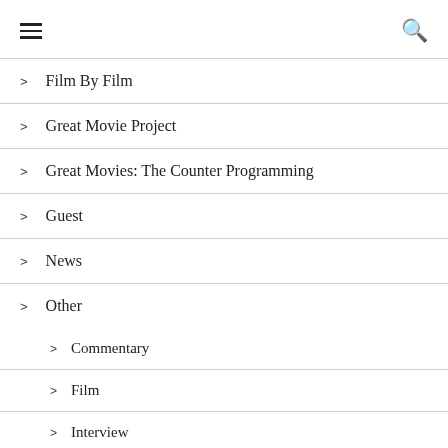☰ [menu] 🔍 [search]
> Film By Film
> Great Movie Project
> Great Movies: The Counter Programming
> Guest
> News
> Other
> Commentary
> Film
> Interview